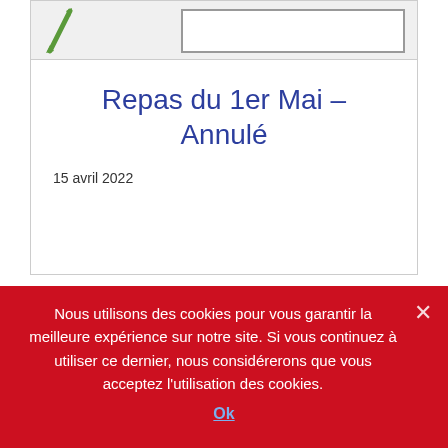[Figure (illustration): Top portion of a card showing a pencil/pen icon on the left and a rectangular box outline on the right, on a light grey background]
Repas du 1er Mai – Annulé
15 avril 2022
En poursuivant votre navigation sur ce site, vous acceptez l'utilisation de Cookies pour nous aider à améliorer votre expérience d'utilisateur de notre site internet.
Nous utilisons des cookies pour vous garantir la meilleure expérience sur notre site. Si vous continuez à utiliser ce dernier, nous considérerons que vous acceptez l'utilisation des cookies.
Ok